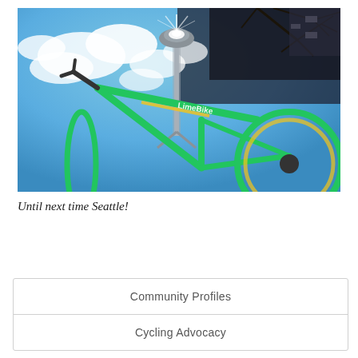[Figure (photo): Low-angle upward photo of a LimeBike (green bicycle with yellow accents) with the Seattle Space Needle in the background against a blue sky with clouds. Tree branches visible in upper right corner.]
Until next time Seattle!
Community Profiles
Cycling Advocacy